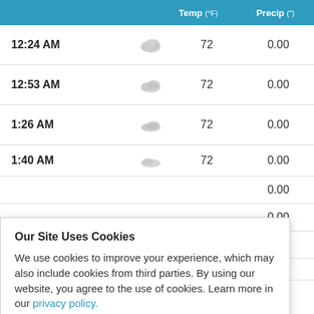| Time | Icon | Temp (°F) | Precip (") |
| --- | --- | --- | --- |
| 12:24 AM | [cloud] | 72 | 0.00 |
| 12:53 AM | [cloud] | 72 | 0.00 |
| 1:26 AM | [cloud] | 72 | 0.00 |
| 1:40 AM | [cloud] | 72 | 0.00 |
| [partial] | [cloud] | [partial] | 0.00 |
| [partial] | [cloud] | [partial] | 0.00 |
| [partial] | [cloud] | [partial] | 0.00 |
| [partial] | [cloud] | 72 | 0.01 |
Our Site Uses Cookies
We use cookies to improve your experience, which may also include cookies from third parties. By using our website, you agree to the use of cookies. Learn more in our privacy policy.